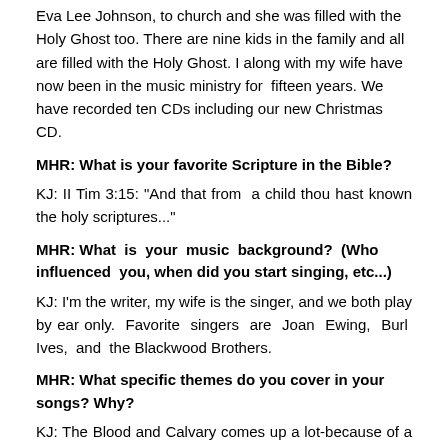Eva Lee Johnson, to church and she was filled with the Holy Ghost too. There are nine kids in the family and all are filled with the Holy Ghost. I along with my wife have now been in the music ministry for fifteen years. We have recorded ten CDs including our new Christmas CD.
MHR: What is your favorite Scripture in the Bible?
KJ: II Tim 3:15: “And that from a child thou hast known the holy scriptures...”
MHR: What is your music background? (Who influenced you, when did you start singing, etc...)
KJ: I’m the writer, my wife is the singer, and we both play by ear only. Favorite singers are Joan Ewing, Burl Ives, and the Blackwood Brothers.
MHR: What specific themes do you cover in your songs? Why?
KJ: The Blood and Calvary comes up a lot-because of a salvation message.
MHR: Do you write your own songs? (If so, discuss your usual...